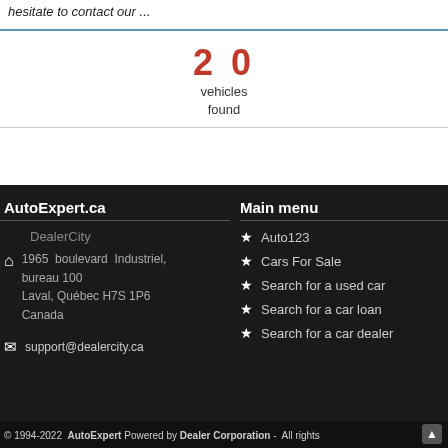hesitate to contact our ...
20 vehicles found
AutoExpert.ca
DealerCity
1965 boulevard Industriel, bureau 100
Laval, Québec H7S 1P6
Canada
support@dealercity.ca
Main menu
Auto123
Cars For Sale
Search for a used car
Search for a car loan
Search for a car dealer
© 1994-2022 AutoExpert Powered by Dealer Corporation - All rights